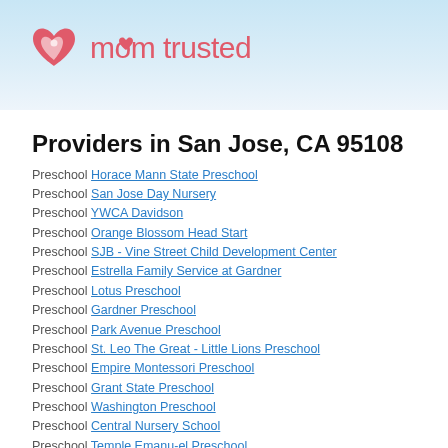[Figure (logo): MomTrusted logo with pink heart icon and pink text 'mom trusted']
Providers in San Jose, CA 95108
Preschool Horace Mann State Preschool
Preschool San Jose Day Nursery
Preschool YWCA Davidson
Preschool Orange Blossom Head Start
Preschool SJB - Vine Street Child Development Center
Preschool Estrella Family Service at Gardner
Preschool Lotus Preschool
Preschool Gardner Preschool
Preschool Park Avenue Preschool
Preschool St. Leo The Great - Little Lions Preschool
Preschool Empire Montessori Preschool
Preschool Grant State Preschool
Preschool Washington Preschool
Preschool Central Nursery School
Preschool Temple Emanu-el Preschool
Preschool Joyful Noise Christian School
Preschool Joyful Noise Christian School
Preschool San Jose Head Start
Preschool Tamien Child Care Center
Preschool Hearts & Hands
Preschool Daycare Preschool Dom Dinis
Preschool Luther Burbank Child Development Center